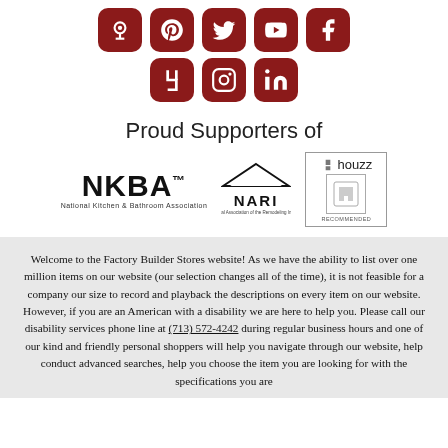[Figure (illustration): Social media icons row 1: podcast, Pinterest, Twitter, YouTube, Facebook — dark red rounded square icons]
[Figure (illustration): Social media icons row 2: Houzz, Instagram, LinkedIn — dark red rounded square icons]
Proud Supporters of
[Figure (logo): NKBA - National Kitchen & Bathroom Association logo]
[Figure (logo): NARI - National Association of the Remodeling Industry logo]
[Figure (logo): Houzz Recommended badge logo]
Welcome to the Factory Builder Stores website! As we have the ability to list over one million items on our website (our selection changes all of the time), it is not feasible for a company our size to record and playback the descriptions on every item on our website. However, if you are an American with a disability we are here to help you. Please call our disability services phone line at (713) 572-4242 during regular business hours and one of our kind and friendly personal shoppers will help you navigate through our website, help conduct advanced searches, help you choose the item you are looking for with the specifications you are